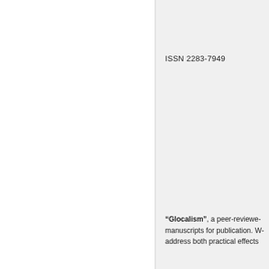ISSN 2283-7949
“Glocalism”, a peer-reviewed manuscripts for publication. We address both practical effects